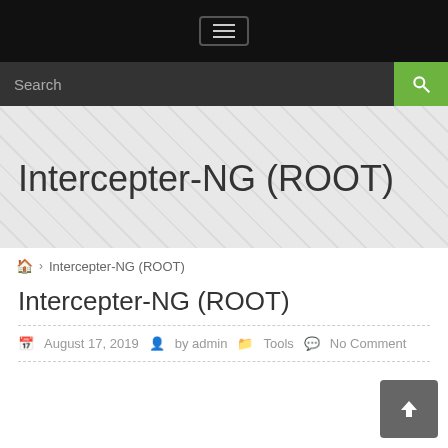Navigation menu button
Search
Intercepter-NG (ROOT)
🏠 > Intercepter-NG (ROOT)
Intercepter-NG (ROOT)
August 17, 2019  by admin  Tools  No Comment